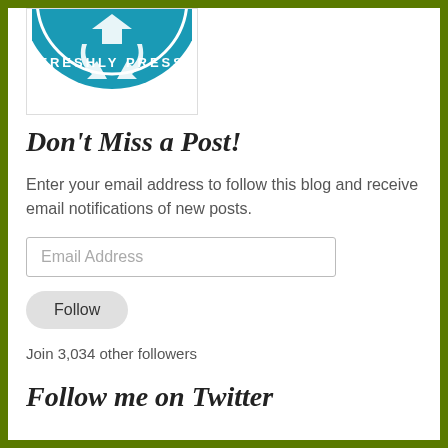[Figure (logo): Freshly Pressed circular badge logo in teal/blue with white text, partially visible at top]
Don't Miss a Post!
Enter your email address to follow this blog and receive email notifications of new posts.
Email Address
Follow
Join 3,034 other followers
Follow me on Twitter